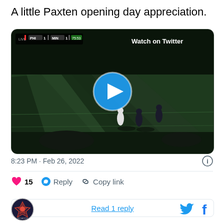A little Paxten opening day appreciation.
[Figure (screenshot): Twitter/X video embed showing a soccer match (PHI 1 - MIN 1, 75:53) with a play button overlay and 'Watch on Twitter' label. The video shows a soccer field with players during what appears to be an MLS opening day match.]
8:23 PM · Feb 26, 2022
15  Reply  Copy link
Read 1 reply
[Figure (logo): SB Nation / soccer website circular logo with eagle/star emblem]
[Figure (logo): Twitter bird icon and Facebook 'f' icon in blue]